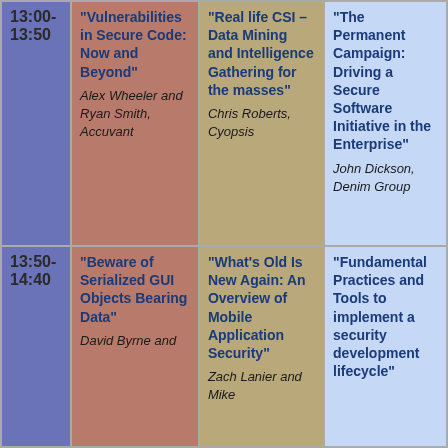| Time | Track 1 | Track 2 | Track 3 |
| --- | --- | --- | --- |
| 13:00-13:50 | "Vulnerabilities in Secure Code: Now and Beyond"
Alex Wheeler and Ryan Smith, Accuvant | "Real life CSI – Data Mining and Intelligence Gathering for the masses"
Chris Roberts, Cyopsis | "The Permanent Campaign: Driving a Secure Software Initiative in the Enterprise"
John Dickson, Denim Group |
| 13:50-14:40 | "Beware of Serialized GUI Objects Bearing Data"
David Byrne and | "What's Old Is New Again: An Overview of Mobile Application Security"
Zach Lanier and Mike | "Fundamental Practices and Tools to implement a security development lifecycle" |